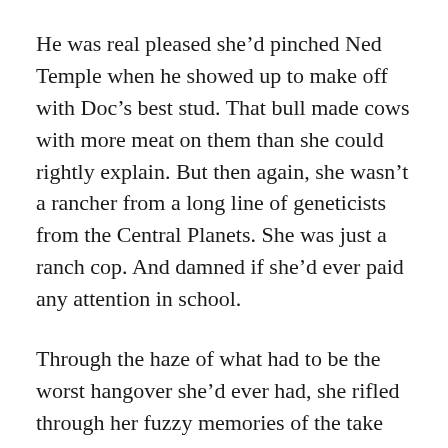He was real pleased she'd pinched Ned Temple when he showed up to make off with Doc's best stud. That bull made cows with more meat on them than she could rightly explain. But then again, she wasn't a rancher from a long line of geneticists from the Central Planets. She was just a ranch cop. And damned if she'd ever paid any attention in school.
Through the haze of what had to be the worst hangover she'd ever had, she rifled through her fuzzy memories of the take down at the Whispering Pines Ranch (which she couldn't help but think sounded like a goddamned undertaker lived there, but it paid pretty well, so she could forgive it). She'd drawn down on Ned from a fair